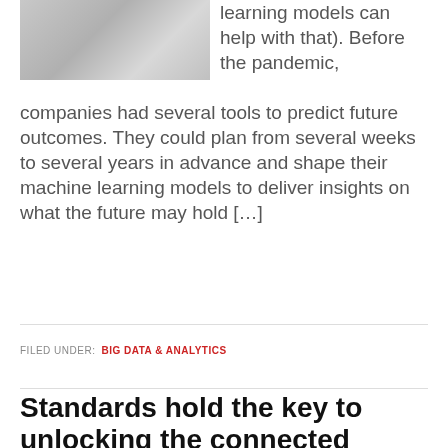[Figure (photo): A notebook with a pen lying on it, shot from above, grayscale-ish tones]
learning models can help with that). Before the pandemic, companies had several tools to predict future outcomes. They could plan from several weeks to several years in advance and shape their machine learning models to deliver insights on what the future may hold […]
FILED UNDER: BIG DATA & ANALYTICS
Standards hold the key to unlocking the connected home